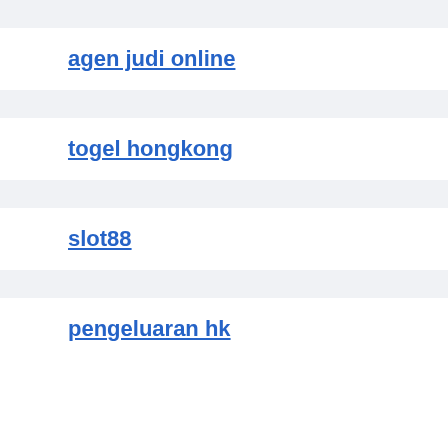agen judi online
togel hongkong
slot88
pengeluaran hk